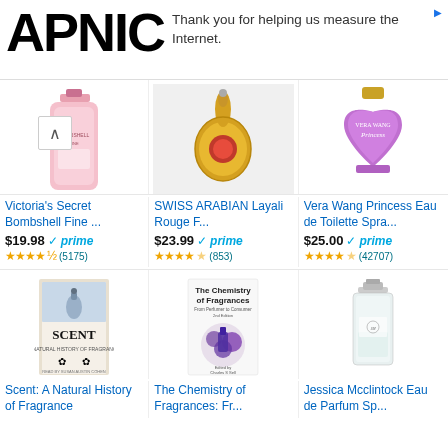APNIC — Thank you for helping us measure the Internet.
[Figure (photo): Victoria's Secret Bombshell Fine fragrance bottle (pink)]
Victoria's Secret Bombshell Fine ...
$19.98 prime (5175)
[Figure (photo): SWISS ARABIAN Layali Rouge F... gold ornate perfume bottle]
SWISS ARABIAN Layali Rouge F...
$23.99 prime (853)
[Figure (photo): Vera Wang Princess Eau de Toilette heart-shaped purple bottle]
Vera Wang Princess Eau de Toilette Spra...
$25.00 prime (42707)
[Figure (photo): Scent: A Natural History of Fragrance book cover]
Scent: A Natural History of Fragrance
[Figure (photo): The Chemistry of Fragrances book cover]
The Chemistry of Fragrances: Fr...
[Figure (photo): Jessica Mcclintock Eau de Parfum spray bottle]
Jessica Mcclintock Eau de Parfum Sp...